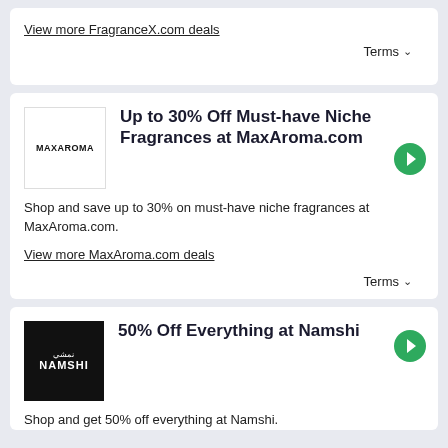View more FragranceX.com deals
Terms ∨
Up to 30% Off Must-have Niche Fragrances at MaxAroma.com
Shop and save up to 30% on must-have niche fragrances at MaxAroma.com.
View more MaxAroma.com deals
Terms ∨
50% Off Everything at Namshi
Shop and get 50% off everything at Namshi.